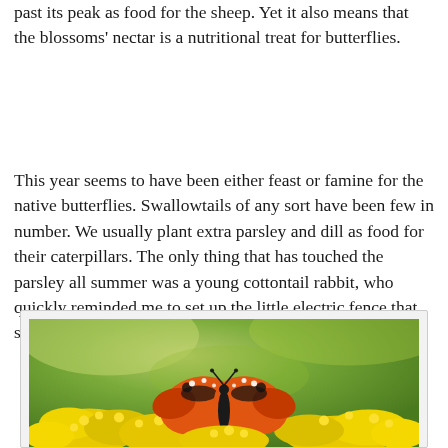past its peak as food for the sheep. Yet it also means that the blossoms' nectar is a nutritional treat for butterflies.
This year seems to have been either feast or famine for the native butterflies. Swallowtails of any sort have been few in number. We usually plant extra parsley and dill as food for their caterpillars. The only thing that has touched the parsley all summer was a young cottontail rabbit, who quickly reminded me to set up the little electric fence that surrounds the garden.
[Figure (photo): A butterfly with orange, black, and white patterned wings resting on yellow flowers (goldenrod), with a blurred green background.]